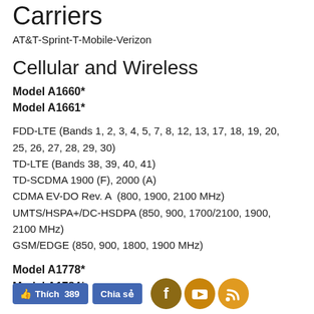Carriers
AT&T-Sprint-T-Mobile-Verizon
Cellular and Wireless
Model A1660*
Model A1661*
FDD-LTE (Bands 1, 2, 3, 4, 5, 7, 8, 12, 13, 17, 18, 19, 20, 25, 26, 27, 28, 29, 30)
TD-LTE (Bands 38, 39, 40, 41)
TD-SCDMA 1900 (F), 2000 (A)
CDMA EV-DO Rev. A  (800, 1900, 2100 MHz)
UMTS/HSPA+/DC-HSDPA (850, 900, 1700/2100, 1900, 2100 MHz)
GSM/EDGE (850, 900, 1800, 1900 MHz)
Model A1778*
Model A1784*
[Figure (screenshot): Social media bar with Facebook like button showing 389 likes, Chia se (Share) button, and social icons for Facebook, YouTube, and RSS feed]